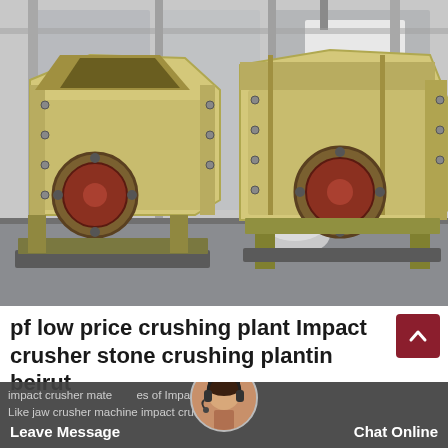[Figure (photo): Two large yellow impact crusher machines sitting on a factory floor inside an industrial warehouse building. The machines are heavy industrial crushing equipment with circular rotor discs visible on the front.]
pf low price crushing plant Impact crusher stone crushing plantin beirut
impact crusher materials types of Impact Crusher: Like jaw crusher machine impact crusher for sal
Leave Message
Chat Online